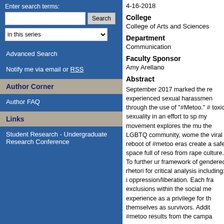Enter search terms:
in this series
Advanced Search
Notify me via email or RSS
Author Corner
Author FAQ
Links
Student Research - Undergraduate Research Conference
4-16-2018
College
College of Arts and Sciences
Department
Communication
Faculty Sponsor
Amy Arellano
Abstract
September 2017 marked the re experienced sexual harassmen through the use of "#Metoo." # toxic sexuality in an effort to sp my movement explores the mu the LGBTQ community, wome the viral reboot of #metoo eras create a safe space full of reso from rape culture. To further ur framework of gendered rhetori for critical analysis including: i oppression/liberation. Each fra exclusions within the social me experience as a privilege for th themselves as survivors. Addit #metoo results from the campa